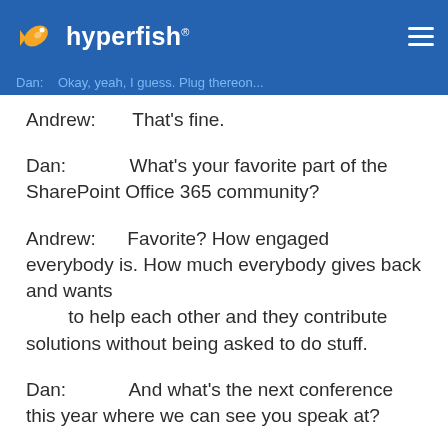hyperfish
Dan:    Okay, yeah, I guess. Plug thereon...
Andrew:    That's fine.
Dan:    What's your favorite part of the SharePoint Office 365 community?
Andrew:    Favorite? How engaged everybody is. How much everybody gives back and wants to help each other and they contribute solutions without being asked to do stuff.
Dan:    And what's the next conference this year where we can see you speak at?